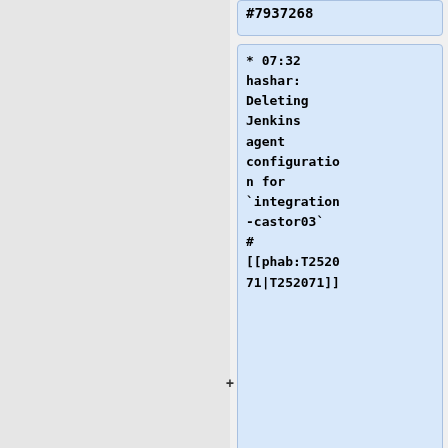#7937268
* 07:32 hashar: Deleting Jenkins agent configuration for `integration-castor03` # [[phab:T252071|T252071]]
== 2020-11-19 ==
== 2022-05-17 ==
* 20:30 Amir1: shut down
* 23:26 James_F: Zuul: